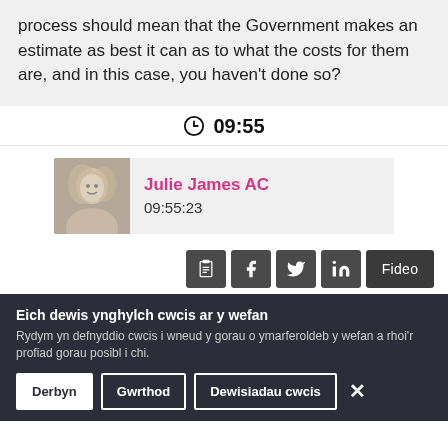process should mean that the Government makes an estimate as best it can as to what the costs for them are, and in this case, you haven't done so?
09:55
Julie James AC
09:55:23
[Figure (infographic): Social share buttons: clipboard, Facebook, Twitter, LinkedIn, and Fideo (video) button]
Eich dewis ynghylch cwcis ar y wefan
Rydym yn defnyddio cwcis i wneud y gorau o ymarferoldeb y wefan a rhoi'r profiad gorau posibl i chi.
Derbyn
Gwrthod
Dewisiadau cwcis